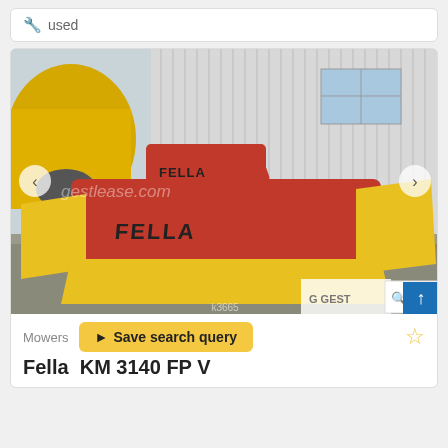used
[Figure (photo): Fella KM 3140 FP V mower shown in a parking lot, yellow and red colored agricultural mowing machine, with 'gestlease.com' watermark overlay]
Mowers
Save search query
Fella  KM 3140 FP V